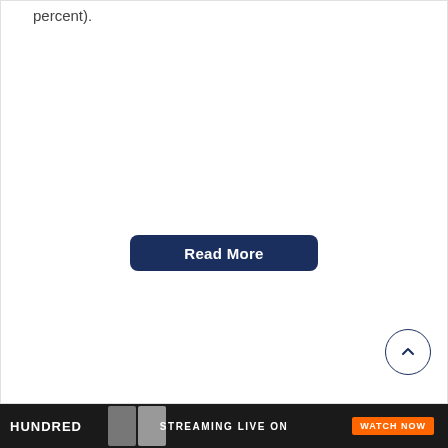percent).
[Figure (other): Read More button — dark navy rounded rectangle with white text 'Read More']
[Figure (other): Scroll-to-top circular button with upward chevron arrow, navy border on white background]
HUNDRED   STREAMING LIVE ON   WATCH NOW